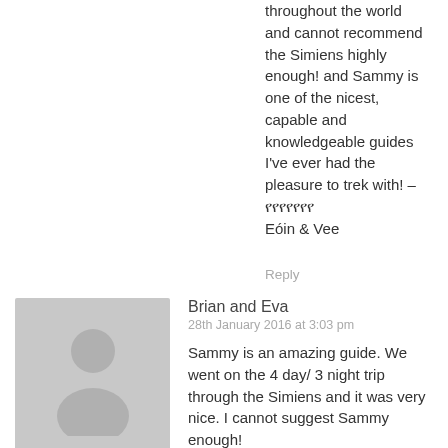throughout the world and cannot recommend the Simiens highly enough! and Sammy is one of the nicest, capable and knowledgeable guides I've ever had the pleasure to trek with! – 🇪🇹🇪🇹🇪🇹🇪🇹🇪🇹🇪🇹🇪🇹 Eóin & Vee
Reply
Brian and Eva
28th January 2016 at 3:03 pm
Sammy is an amazing guide. We went on the 4 day/ 3 night trip through the Simiens and it was very nice. I cannot suggest Sammy enough!
Reply